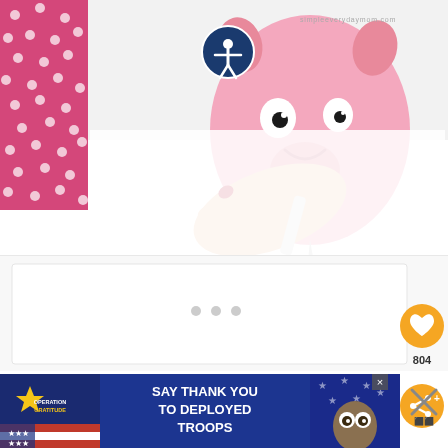[Figure (photo): A hand using a craft knife/precision cutter to cut out a pink pig paper craft. Pink polka-dot fabric visible in upper left corner. Cartoon pig with eyes and smile visible on white paper. Accessibility icon (person in circle) overlaid on the image. Watermark: simpleeverydaymom.com]
[Figure (screenshot): Loading advertisement placeholder with three gray dots]
[Figure (infographic): Orange circular heart/save button and share button on the right side, with count 804 below heart button]
[Figure (photo): Operation Gratitude advertisement banner: SAY THANK YOU TO DEPLOYED TROOPS with patriotic imagery including stars and an owl character]